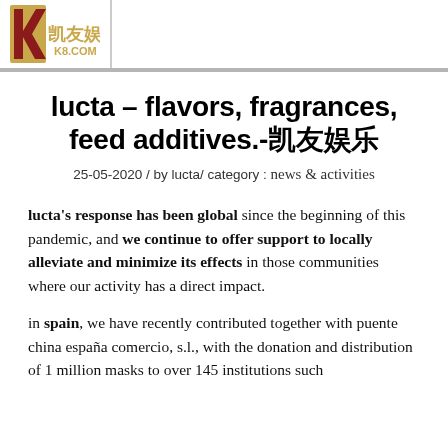凯友娱乐 K8.COM
lucta – flavors, fragrances, feed additives.-凯友娱乐
25-05-2020 / by lucta/ category : news & activities
lucta's response has been global since the beginning of this pandemic, and we continue to offer support to locally alleviate and minimize its effects in those communities where our activity has a direct impact.
in spain, we have recently contributed together with puente china españa comercio, s.l., with the donation and distribution of 1 million masks to over 145 institutions such